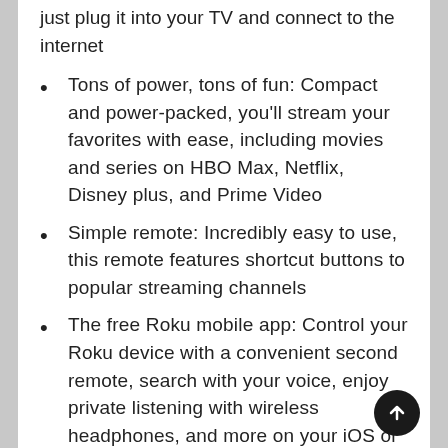just plug it into your TV and connect to the internet
Tons of power, tons of fun: Compact and power-packed, you'll stream your favorites with ease, including movies and series on HBO Max, Netflix, Disney plus, and Prime Video
Simple remote: Incredibly easy to use, this remote features shortcut buttons to popular streaming channels
The free Roku mobile app: Control your Roku device with a convenient second remote, search with your voice, enjoy private listening with wireless headphones, and more on your iOS or Android device